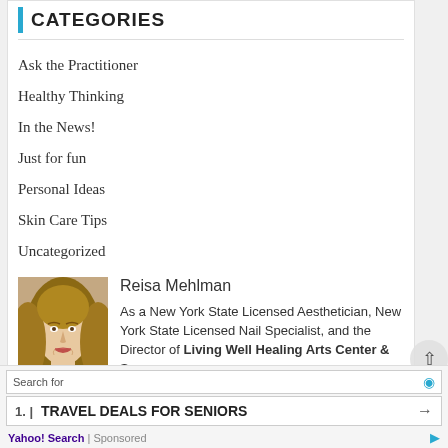CATEGORIES
Ask the Practitioner
Healthy Thinking
In the News!
Just for fun
Personal Ideas
Skin Care Tips
Uncategorized
[Figure (photo): Portrait photo of Reisa Mehlman, a woman with long blonde hair]
Reisa Mehlman
As a New York State Licensed Aesthetician, New York State Licensed Nail Specialist, and the Director of Living Well Healing Arts Center & Spa, Reisa combines her love of spa services and healing arts to
Search for
1. | TRAVEL DEALS FOR SENIORS →
Yahoo! Search | Sponsored